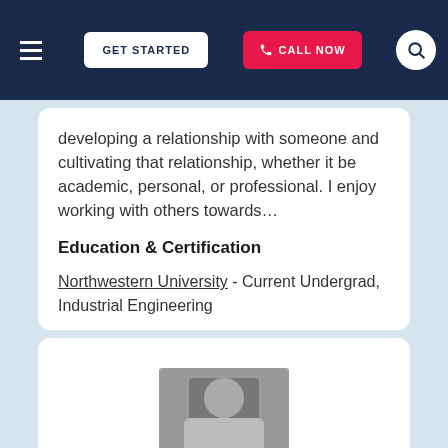GET STARTED | CALL NOW
developing a relationship with someone and cultivating that relationship, whether it be academic, personal, or professional. I enjoy working with others towards…
Education & Certification
Northwestern University - Current Undergrad, Industrial Engineering
View this Beach Park SAT Writing and Language Tutor ►
[Figure (photo): Partial view of a tutor photo at the bottom of the page]